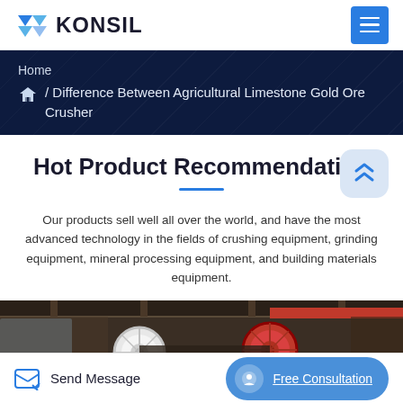KONSIL
Home / Difference Between Agricultural Limestone Gold Ore Crusher
Hot Product Recommendation
Our products sell well all over the world, and have the most advanced technology in the fields of crushing equipment, grinding equipment, mineral processing equipment, and building materials equipment.
[Figure (photo): Industrial machinery with large red and white wheels/pulleys in a factory setting]
Send Message   Free Consultation